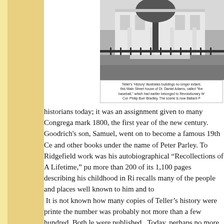[Figure (photo): Black and white historical photograph of a Main Street house, Dr. Daniel Adams's house in Ridgefield]
Teller's 'History' illustrates buildings no longer extant, this Main Street house of Dr. Daniel Adams, called "the baseball," which had earlier belonged to Revolutionary W Col. Philip Burr Bradley. The scene is now Ballard P
historians today; it was an assignment given to many Congrega mark 1800, the first year of the new century. Goodrich's son, Samuel, went on to become a famous 19th Ce and other books under the name of Peter Parley. To Ridgefield work was his autobiographical “Recollections of A Lifetime,” pu more than 200 of its 1,100 pages describing his childhood in Ri recalls many of the people and places well known to him and to It is not known how many copies of Teller’s history were printe the number was probably not more than a few hundred. Both le were published. Today, perhaps no more than a few dozen orig them owned by the Ridgefield Library or the the Historical Socie marvels of modern technology, several “print on demand” comp hardcover editions for as low as $16; a “super deluxe” version b can be ordered for $75 (an original Teller clothbound edition ru